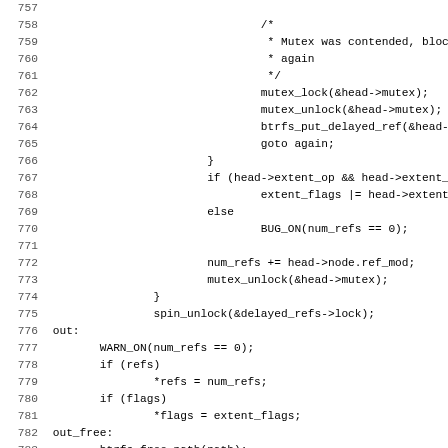[Figure (screenshot): Source code listing in C showing lines 757–789, featuring mutex operations, delayed ref handling, and a comment about back reference rules. Lines include mutex_lock, mutex_unlock, btrfs_put_delayed_ref, goto again, if/else blocks, BUG_ON, num_refs, spin_unlock, WARN_ON, btrfs_free_path, return ret, and a closing brace followed by a comment block.]